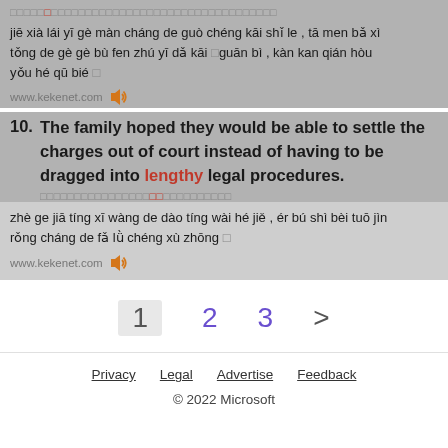Chinese characters (pinyin transliteration line 1)
jiē xià lái yī gè màn cháng de guò chéng kāi shǐ le , tā men bǎ xì tǒng de gè gè bù fen zhú yī dǎ kāi guān bì , kàn kan qián hòu yǒu hé qū bié。
www.kekenet.com 🔊
10. The family hoped they would be able to settle the charges out of court instead of having to be dragged into lengthy legal procedures.
Chinese characters (pinyin transliteration line 2)
zhè ge jiā tíng xī wàng de dào tíng wài hé jiě , ér bú shì bèi tuō jìn rǒng cháng de fǎ lǜ chéng xù zhōng。
www.kekenet.com 🔊
1  2  3  >
Privacy  Legal  Advertise  Feedback
© 2022 Microsoft